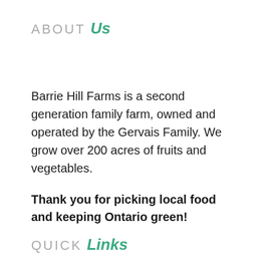ABOUT Us
Barrie Hill Farms is a second generation family farm, owned and operated by the Gervais Family. We grow over 200 acres of fruits and vegetables.
Thank you for picking local food and keeping Ontario green!
QUICK Links